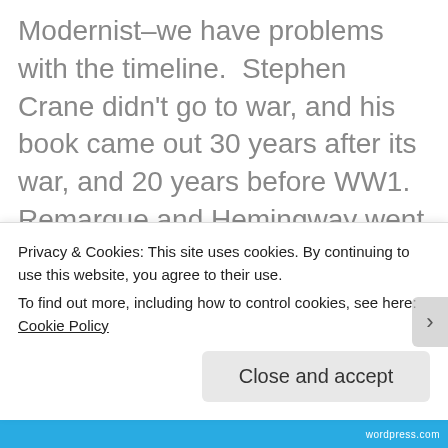Modernist–we have problems with the timeline.  Stephen Crane didn't go to war, and his book came out 30 years after its war, and 20 years before WW1. Remarque and Hemingway went to war, but didn't publish their books for 10 years. We can hardly say modernism received a formative impact in 1929. [3]  And if Hemingway was so traumatized by the war, why did he volunteer for both the Spanish Civil War and WW2–and spend much of the time in-between travelling around the world to shoot big animals?
Privacy & Cookies: This site uses cookies. By continuing to use this website, you agree to their use.
To find out more, including how to control cookies, see here: Cookie Policy